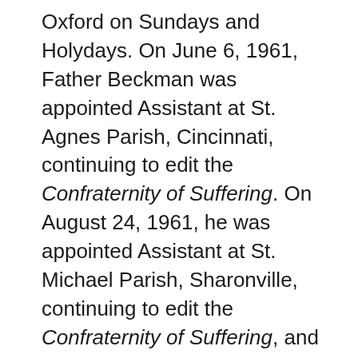Oxford on Sundays and Holydays. On June 6, 1961, Father Beckman was appointed Assistant at St. Agnes Parish, Cincinnati, continuing to edit the Confraternity of Suffering. On August 24, 1961, he was appointed Assistant at St. Michael Parish, Sharonville, continuing to edit the Confraternity of Suffering, and to teach part-time at Notre Dame High School, Reading. On June 14, 1963, he was appointed as Assistant of Assumption Parish, Mt. Healthy and continuing to teach at Notre Dame High School. On June 17, 1964, he was appointed Assistant of St. Mary Parish, Oxford, part-time teacher at Hamilton Catholic High School, and to work with the Newman Club, under the direction of the pastor at Miami